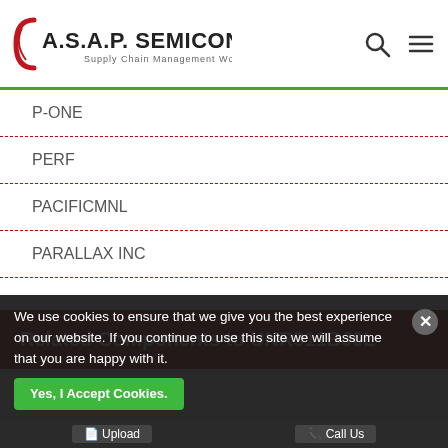A.S.A.P. SEMICONDUCTOR Supply Chain Management Worldwide
P-ONE
PERF
PACIFICMNL
PARALLAX INC
Related Components to UNR911BJ0L
UNR-3.310-D12
UNR-2.510-D3T
UNR-2.5/2-D5SM-C
UNR-3.3/10-D5-C
UNR-1.8/2-D5SM-C
UNR-1.5/10-D3T
We use cookies to ensure that we give you the best experience on our website. If you continue to use this site we will assume that you are happy with it.
Yes, I Accept Cookies.
Upload | Call Us